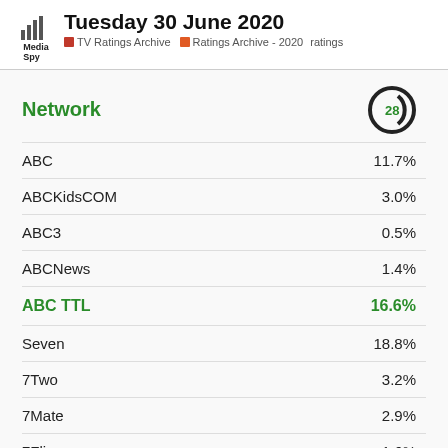Tuesday 30 June 2020 | TV Ratings Archive | Ratings Archive - 2020 | ratings
| Network | 28 (channel logo) |
| --- | --- |
| ABC | 11.7% |
| ABCKidsCOM | 3.0% |
| ABC3 | 0.5% |
| ABCNews | 1.4% |
| ABC TTL | 16.6% |
| Seven | 18.8% |
| 7Two | 3.2% |
| 7Mate | 2.9% |
| 7Flix | 1.6% |